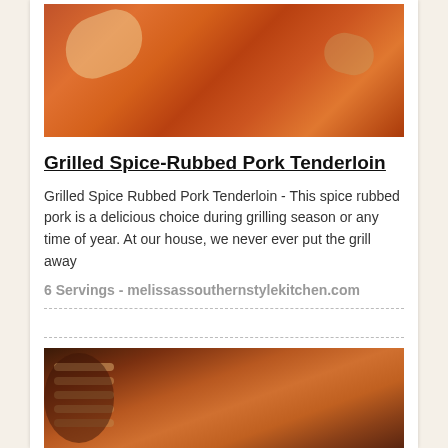[Figure (photo): Close-up photo of grilled spice-rubbed pork tenderloin with charred, caramelized spice crust in orange and brown tones]
Grilled Spice-Rubbed Pork Tenderloin
Grilled Spice Rubbed Pork Tenderloin - This spice rubbed pork is a delicious choice during grilling season or any time of year. At our house, we never ever put the grill away
6 Servings - melissassouthernstylekitchen.com
[Figure (photo): Photo of sliced grilled pork ribs/tenderloin arranged on a surface with a dark sauce in a bowl, showing caramelized brown glazed meat]